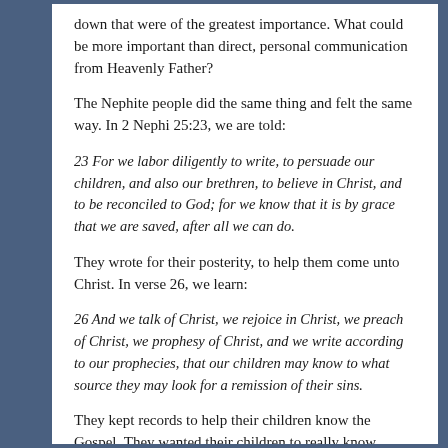down that were of the greatest importance. What could be more important than direct, personal communication from Heavenly Father?
The Nephite people did the same thing and felt the same way. In 2 Nephi 25:23, we are told:
23 For we labor diligently to write, to persuade our children, and also our brethren, to believe in Christ, and to be reconciled to God; for we know that it is by grace that we are saved, after all we can do.
They wrote for their posterity, to help them come unto Christ. In verse 26, we learn:
26 And we talk of Christ, we rejoice in Christ, we preach of Christ, we prophesy of Christ, and we write according to our prophecies, that our children may know to what source they may look for a remission of their sins.
They kept records to help their children know the Gospel. They wanted their children to really know Christ.